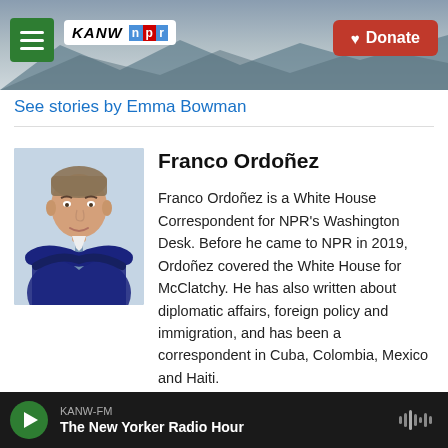KANW NPR | Donate
See stories by Emma Bowman
[Figure (photo): Headshot of Franco Ordoñez, a man in a suit with arms crossed, professional photo]
Franco Ordoñez
Franco Ordoñez is a White House Correspondent for NPR's Washington Desk. Before he came to NPR in 2019, Ordoñez covered the White House for McClatchy. He has also written about diplomatic affairs, foreign policy and immigration, and has been a correspondent in Cuba, Colombia, Mexico and Haiti.
KANW-FM The New Yorker Radio Hour